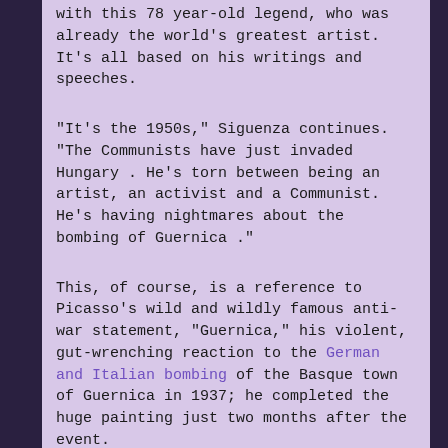with this 78 year-old legend, who was already the world's greatest artist. It's all based on his writings and speeches.
"It's the 1950s," Siguenza continues. "The Communists have just invaded Hungary . He's torn between being an artist, an activist and a Communist. He's having nightmares about the bombing of Guernica ."
This, of course, is a reference to Picasso's wild and wildly famous anti-war statement, "Guernica," his violent, gut-wrenching reaction to the German and Italian bombing of the Basque town of Guernica in 1937; he completed the huge painting just two months after the event.
'Guernica ' anchors the play," says Siguenza . "It